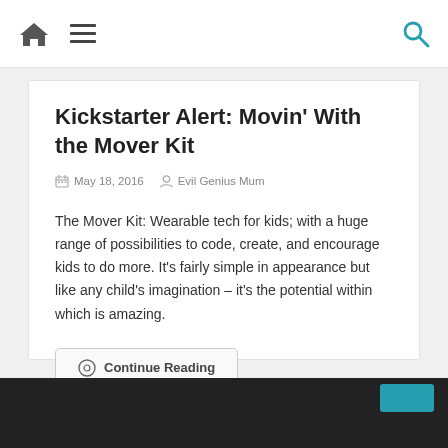Navigation bar with home, menu, and search icons
Kickstarter Alert: Movin’ With the Mover Kit
May 18, 2016  Evil Genius Mum
The Mover Kit: Wearable tech for kids; with a huge range of possibilities to code, create, and encourage kids to do more. It’s fairly simple in appearance but like any child’s imagination – it’s the potential within which is amazing.
Continue Reading